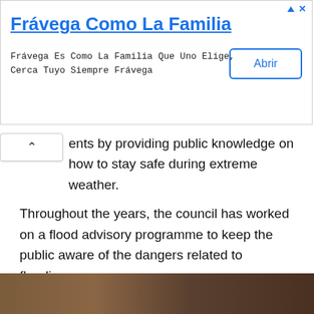[Figure (other): Advertisement banner for Frávega Como La Familia with title, tagline text, and an Abrir (Open) button]
ents by providing public knowledge on how to stay safe during extreme weather.
Throughout the years, the council has worked on a flood advisory programme to keep the public aware of the dangers related to flooding.
Flooding is inevitable in Brisbane because the city was built on a floodplan. Because of this, the Brisbane Council strives to make all residents alert of the flooding in the area.
[Figure (photo): Partial photo showing a brownish flood scene at the bottom of the page]